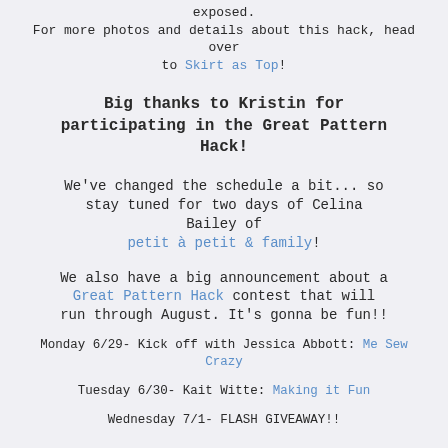exposed.
For more photos and details about this hack, head over to Skirt as Top!
Big thanks to Kristin for participating in the Great Pattern Hack!
We've changed the schedule a bit... so stay tuned for two days of Celina Bailey of petit à petit & family!
We also have a big announcement about a Great Pattern Hack contest that will run through August. It's gonna be fun!!
Monday 6/29- Kick off with Jessica Abbott: Me Sew Crazy
Tuesday 6/30- Kait Witte: Making it Fun
Wednesday 7/1- FLASH GIVEAWAY!!